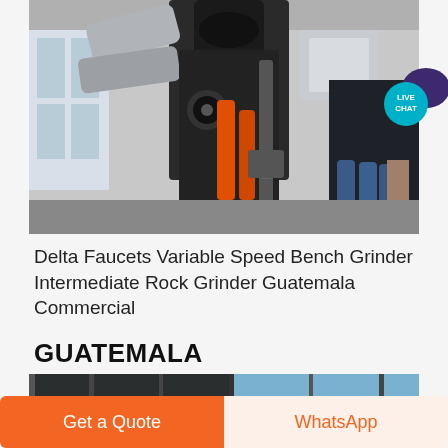[Figure (photo): Industrial grinding machine with large cylindrical body, orange hydraulic cylinders, silver ducts and pipes, in a warehouse/factory setting]
[Figure (other): Live Chat bubble badge with teal circle and speech bubble icon, text reading LIVE CHAT]
Delta Faucets Variable Speed Bench Grinder Intermediate Rock Grinder Guatemala Commercial
GUATEMALA
[Figure (photo): Partial view of industrial equipment/machinery, dark metallic structures with pipes and framing]
Get a Quote
WhatsApp